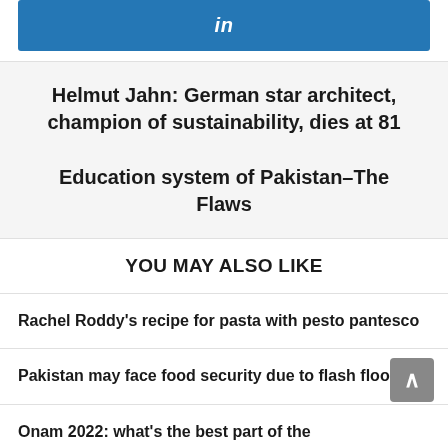[Figure (other): LinkedIn share button - blue background with 'in' logo in white]
Helmut Jahn: German star architect, champion of sustainability, dies at 81
Education system of Pakistan–The Flaws
YOU MAY ALSO LIKE
Rachel Roddy's recipe for pasta with pesto pantesco
Pakistan may face food security due to flash floods
Onam 2022: what's the best part of the